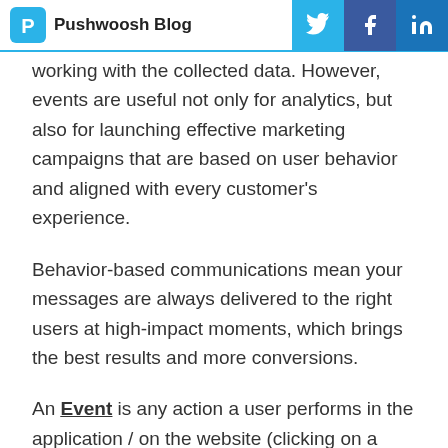Pushwoosh Blog
working with the collected data. However, events are useful not only for analytics, but also for launching effective marketing campaigns that are based on user behavior and aligned with every customer's experience.
Behavior-based communications mean your messages are always delivered to the right users at high-impact moments, which brings the best results and more conversions.
An Event is any action a user performs in the application / on the website (clicking on a button, opening a specific screen, adding a comment, spending or buying an internal currency). When